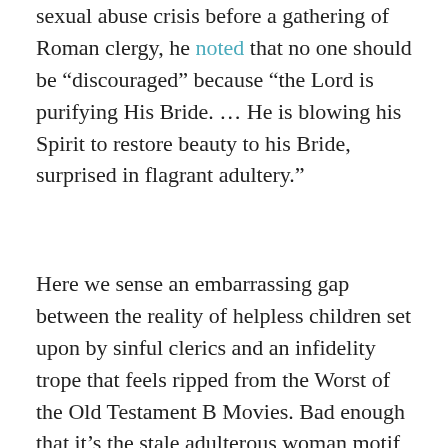sexual abuse crisis before a gathering of Roman clergy, he noted that no one should be “discouraged” because “the Lord is purifying His Bride. … He is blowing his Spirit to restore beauty to his Bride, surprised in flagrant adultery.”
Here we sense an embarrassing gap between the reality of helpless children set upon by sinful clerics and an infidelity trope that feels ripped from the Worst of the Old Testament B Movies. Bad enough that it’s the stale adulterous woman motif—the most serious problem with this language is that it sheds no light whatsoever on the “thing” being discussed. How is clerical sex